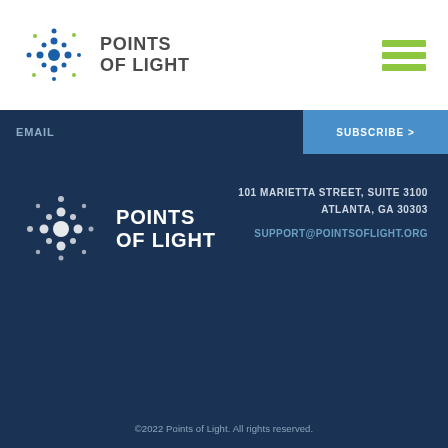[Figure (logo): Points of Light logo with star/asterisk icon in blue and green dots, and text POINTS OF LIGHT in dark gray]
[Figure (other): Hamburger menu icon with three green horizontal bars]
EMAIL
SUBSCRIBE >
[Figure (logo): Points of Light footer logo with star icon in white dots and text POINTS OF LIGHT in white]
101 MARIETTA STREET, SUITE 3100
ATLANTA, GA 30303
SUPPORT@POINTSOFLIGHT.ORG
[Figure (other): Social media icons: Facebook, Twitter, LinkedIn, YouTube, Instagram in gray on dark blue background]
©2022 Points of Light. All rights reserved.